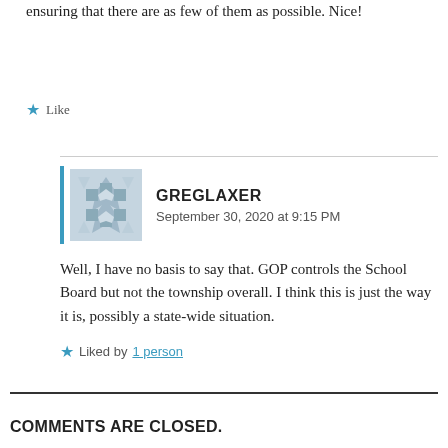ensuring that there are as few of them as possible. Nice!
Like
GREGLAXER
September 30, 2020 at 9:15 PM
Well, I have no basis to say that. GOP controls the School Board but not the township overall. I think this is just the way it is, possibly a state-wide situation.
Liked by 1 person
COMMENTS ARE CLOSED.